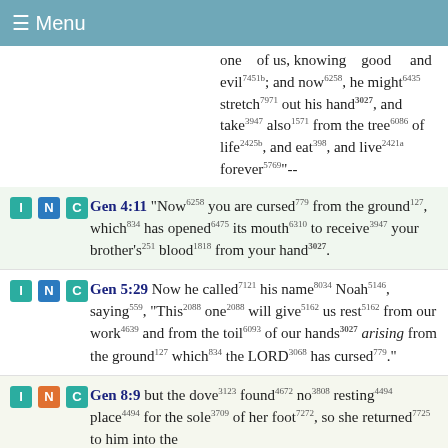≡ Menu
one of us, knowing good and evil⁷⁴⁵¹ᵇ; and now⁶²⁵⁸, he might⁶⁴³⁵ stretch⁷⁹⁷¹ out his hand³⁰²⁷, and take³⁹⁴⁷ also¹⁵⁷¹ from the tree⁶⁰⁸⁶ of life²⁴²⁵ᵇ, and eat³⁹⁸, and live²⁴²¹ᵃ forever⁵⁷⁶⁹"--
Gen 4:11 "Now⁶²⁵⁸ you are cursed⁷⁷⁹ from the ground¹²⁷, which⁸³⁴ has opened⁶⁴⁷⁵ its mouth⁶³¹⁰ to receive³⁹⁴⁷ your brother's²⁵¹ blood¹⁸¹⁸ from your hand³⁰²⁷.
Gen 5:29 Now he called⁷¹²¹ his name⁸⁰³⁴ Noah⁵¹⁴⁶, saying⁵⁵⁹, "This²⁰⁸⁸ one²⁰⁸⁸ will give⁵¹⁶² us rest⁵¹⁶² from our work⁴⁶³⁹ and from the toil⁶⁰⁹³ of our hands³⁰²⁷ arising from the ground¹²⁷ which⁸³⁴ the LORD³⁰⁶⁸ has cursed⁷⁷⁹."
Gen 8:9 but the dove³¹²³ found⁴⁶⁷² no³⁸⁰⁸ resting⁴⁴⁹⁴ place⁴⁴⁹⁴ for the sole³⁷⁰⁹ of her foot⁷²⁷², so she returned⁷⁷²⁵ to him into the